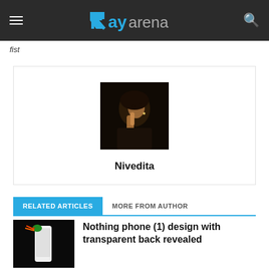RayArena
fist
[Figure (photo): Author profile photo of Nivedita — a woman photographed in dim light holding her hand near her face]
Nivedita
RELATED ARTICLES | MORE FROM AUTHOR
[Figure (photo): Thumbnail image showing a bird perched on a white phone against a dark background]
Nothing phone (1) design with transparent back revealed